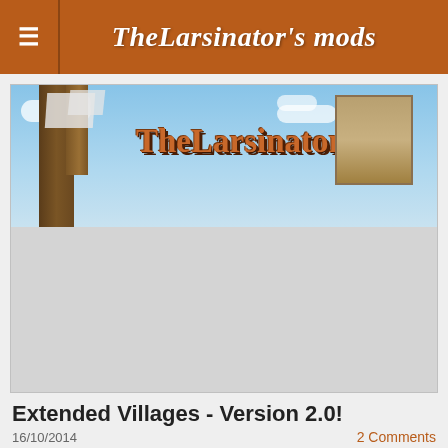TheLarsinator's mods
[Figure (illustration): TheLarsinator's Minecraft mods website banner image showing block structures and 'TheLarsinator's' text]
Extended Villages - Version 2.0!
16/10/2014
2 Comments
[Figure (screenshot): Minecraft village screenshot showing a building under cloudy sky]